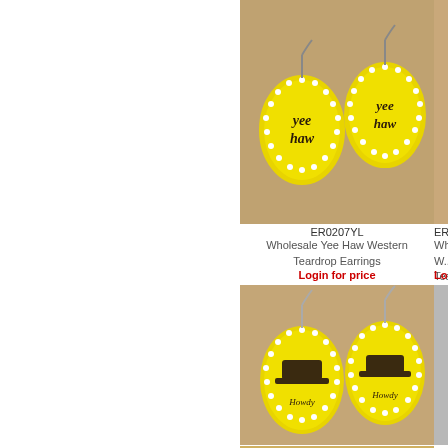[Figure (photo): Yellow teardrop earrings with 'Yee Haw' western design and pearl border]
ER0207YL
Wholesale Yee Haw Western Teardrop Earrings
Login for price
[Figure (photo): White teardrop earrings with western hat design and pearl border (partially visible)]
ER0...
Wholesale W... Teardrop...
Login fo...
[Figure (photo): Yellow teardrop earrings with 'Howdy' western hat design and pearl border]
ER0208YL
Wholesale Howdy Western Teardrop Earrings
Login for price
[Figure (photo): Silver concho oval earrings with turquoise center stone (partially visible)]
ER024...
Wholesale W... Concho...
Login fo...
[Figure (photo): Turquoise teardrop stud earrings on antler display (partially visible)]
ER024...
Wholesale We... Oval Hoo...
Login fo...